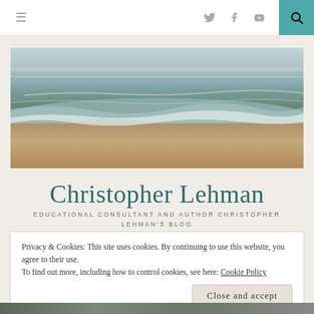≡  (twitter) (facebook) (youtube) 🔍
[Figure (photo): Coastal beach scene with ocean waves washing onto sandy shore at dusk, muted blue and warm sandy tones]
Christopher Lehman
EDUCATIONAL CONSULTANT AND AUTHOR CHRISTOPHER LEHMAN'S BLOG
Privacy & Cookies: This site uses cookies. By continuing to use this website, you agree to their use.
To find out more, including how to control cookies, see here: Cookie Policy
[Close and accept]